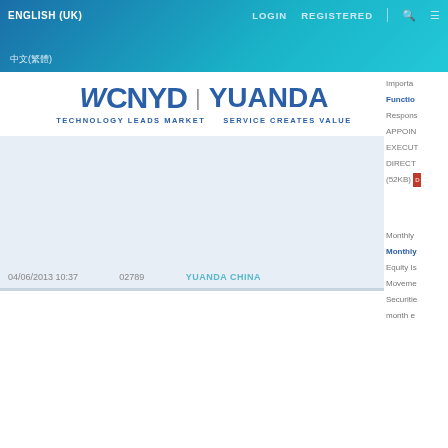ENGLISH (UK)   LOGIN   REGISTERED   中文(繁體)
[Figure (logo): WCNYD | YUANDA logo with tagline TECHNOLOGY LEADS MARKET  SERVICE CREATES VALUE]
| Date/Time | Code | Company | Description |
| --- | --- | --- | --- |
| 04/06/2013 10:37 | 02789 | YUANDA CHINA | Important...
Function...
Respons...
APPOIN...
EXECUT...
DIRECT...
(52KB) |
| 04/06/2013 19:30 | 02789 | YUANDA CHINA | Monthly...
Monthly...
Equity Is...
Moveme...
Securitie...
month e... |